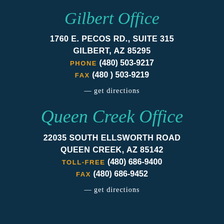Gilbert Office
1760 E. PECOS RD., SUITE 315
GILBERT, AZ 85295
PHONE (480) 503-9217
FAX (480 ) 503-9219
— get directions
Queen Creek Office
22035 SOUTH ELLSWORTH ROAD
QUEEN CREEK, AZ 85142
TOLL-FREE (480) 686-9400
FAX (480) 686-9452
— get directions